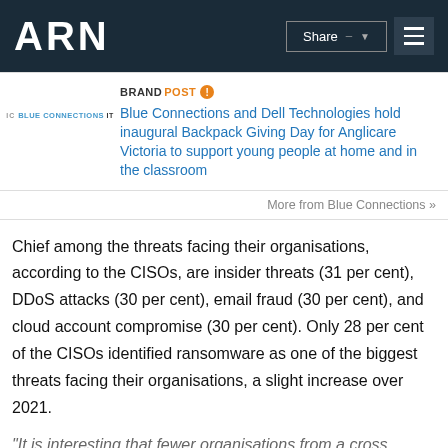ARN
BRANDPOST Blue Connections and Dell Technologies hold inaugural Backpack Giving Day for Anglicare Victoria to support young people at home and in the classroom
More from Blue Connections »
Chief among the threats facing their organisations, according to the CISOs, are insider threats (31 per cent), DDoS attacks (30 per cent), email fraud (30 per cent), and cloud account compromise (30 per cent). Only 28 per cent of the CISOs identified ransomware as one of the biggest threats facing their organisations, a slight increase over 2021.